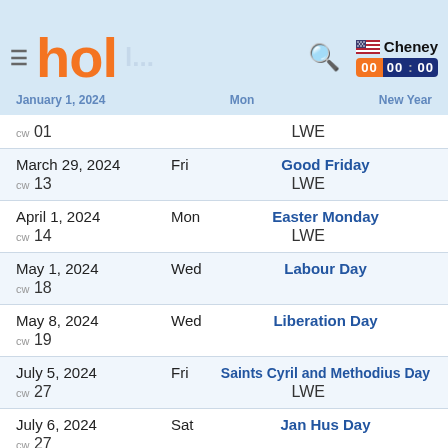hol
| Date | Day | Holiday Name |
| --- | --- | --- |
| January 1, 2024 | Mon | New Year (CW 01, LWE) |
| March 29, 2024 | Fri | Good Friday (CW 13, LWE) |
| April 1, 2024 | Mon | Easter Monday (CW 14, LWE) |
| May 1, 2024 | Wed | Labour Day (CW 18) |
| May 8, 2024 | Wed | Liberation Day (CW 19) |
| July 5, 2024 | Fri | Saints Cyril and Methodius Day (CW 27, LWE) |
| July 6, 2024 | Sat | Jan Hus Day (CW 27) |
| September 28, 2024 | Sat | Statehood Day (CW 39) |